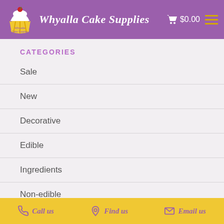Whyalla Cake Supplies  $0.00
CATEGORIES
Sale
New
Decorative
Edible
Ingredients
Non-edible
Hampers / Candy
SERVICE
Delivery Information
Call us   Find us   Email us